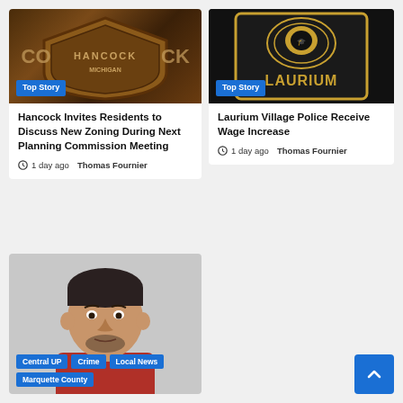[Figure (photo): Hancock police shield badge with Michigan text visible]
Top Story
Hancock Invites Residents to Discuss New Zoning During Next Planning Commission Meeting
1 day ago  Thomas Fournier
[Figure (photo): Laurium village police badge patch, black background with gold text LAURIUM]
Top Story
Laurium Village Police Receive Wage Increase
1 day ago  Thomas Fournier
[Figure (photo): Mugshot of a man in a red shirt with dark hair]
Central UP  Crime  Local News  Marquette County